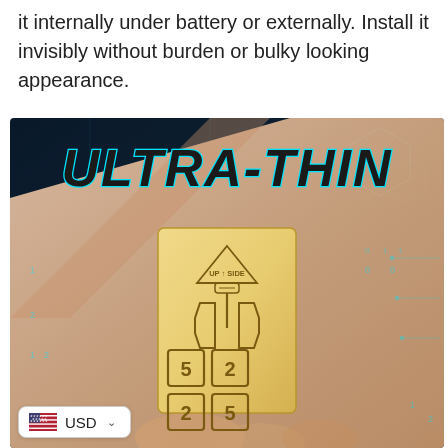it internally under battery or externally. Install it invisibly without burden or bulky looking appearance.
[Figure (photo): Product marketing image showing a hand holding a small ultra-thin gold NFC/GPS tracker chip with 'ULTRA-THIN' text overlay and tech-styled blue background graphics.]
USD